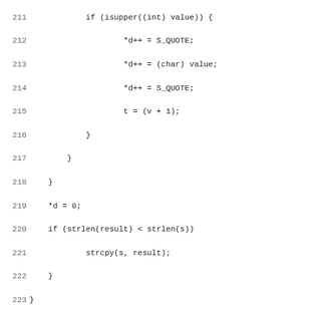[Figure (screenshot): Source code listing in monospace font showing C code lines 211-243, including string manipulation logic, _nc_set_type, _nc_curr_line, _nc_write_entry calls, static bool immedhook function definition, and a comment block about core-economy kluge for terminfo compilation.]